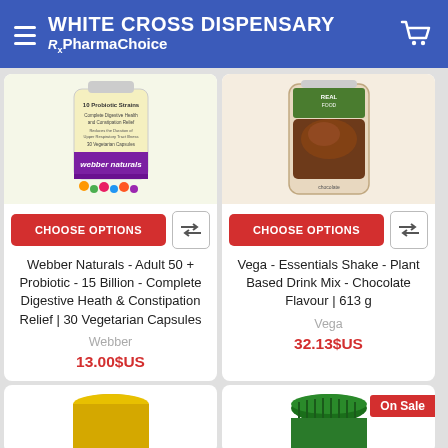WHITE CROSS DISPENSARY RxPharmaChoice
[Figure (photo): Webber Naturals probiotic supplement bottle - 10 Probiotic Strains, Complete Digestive Health and Constipation Relief, 30 Vegetarian Capsules]
CHOOSE OPTIONS
Webber Naturals - Adult 50 + Probiotic - 15 Billion - Complete Digestive Heath & Constipation Relief | 30 Vegetarian Capsules
Webber
13.00$US
[Figure (photo): Vega Essentials Shake chocolate flavour container - Real Food, Plant Based]
CHOOSE OPTIONS
Vega - Essentials Shake - Plant Based Drink Mix - Chocolate Flavour | 613 g
Vega
32.13$US
[Figure (photo): Partial product card bottom - yellow cap supplement bottle]
[Figure (photo): Partial product card bottom with On Sale badge - green cap supplement bottle]